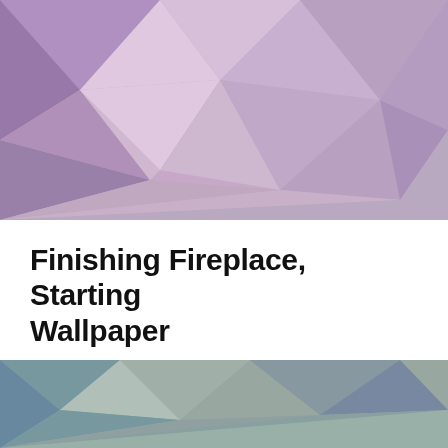[Figure (illustration): Abstract low-poly geometric background in purple, lavender, and pink tones]
Finishing Fireplace, Starting Wallpaper
If you'll remember, we last left off at me having to finish the fireplace before I could begin to wallpaper. I got the bricks painted a nice brown. And then added a bit of color. I had just spray painted this with clear to seal the acrylic paints, so...
LPCullen
June 19, 2007
[Figure (illustration): Abstract low-poly geometric background in teal and grey-green tones]